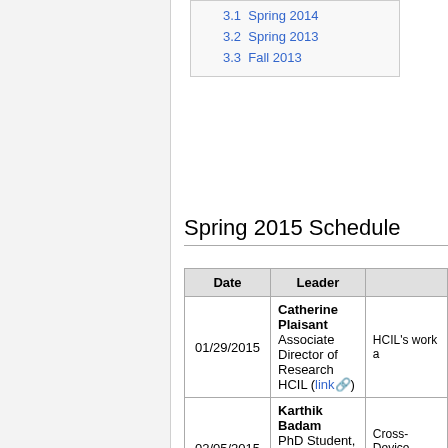3.1 Spring 2014
3.2 Spring 2013
3.3 Fall 2013
Spring 2015 Schedule
| Date | Leader |  |
| --- | --- | --- |
| 01/29/2015 | Catherine Plaisant
Associate Director of Research HCIL (link) | HCIL's work a |
| 02/05/2015 | Karthik Badam
PhD Student, Department of Computer Science | Cross-Device Visualization |